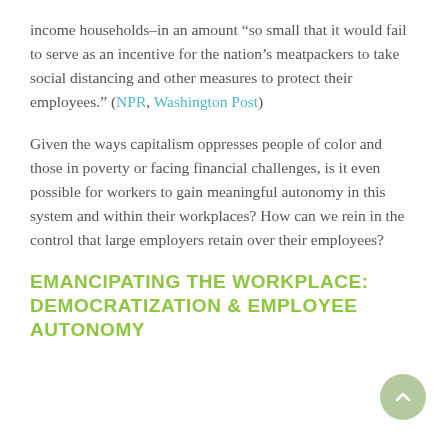income households–in an amount “so small that it would fail to serve as an incentive for the nation’s meatpackers to take social distancing and other measures to protect their employees.” (NPR, Washington Post)
Given the ways capitalism oppresses people of color and those in poverty or facing financial challenges, is it even possible for workers to gain meaningful autonomy in this system and within their workplaces? How can we rein in the control that large employers retain over their employees?
EMANCIPATING THE WORKPLACE: DEMOCRATIZATION & EMPLOYEE AUTONOMY